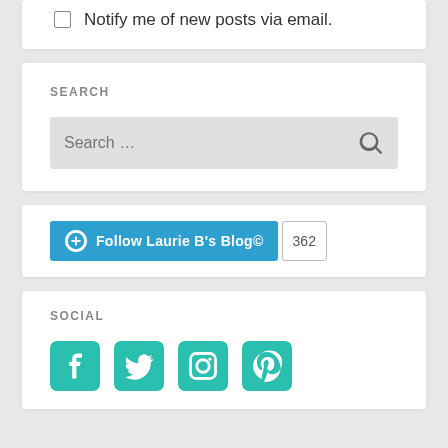Notify me of new posts via email.
SEARCH
[Figure (screenshot): Search input box with placeholder text 'Search ...' and a magnifying glass icon on the right]
[Figure (screenshot): WordPress Follow button reading 'Follow Laurie B's Blog©' with follower count badge showing 362]
SOCIAL
[Figure (infographic): Row of four teal social media icons: Facebook, Twitter, Instagram, Pinterest]